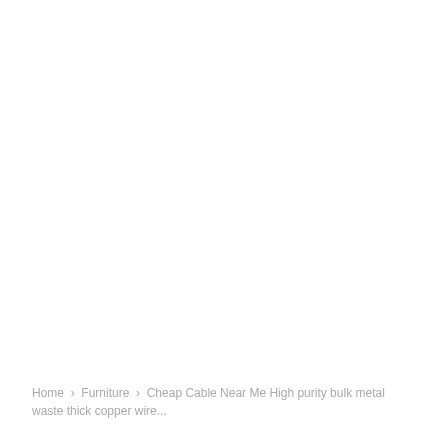Home › Furniture › Cheap Cable Near Me High purity bulk metal waste thick copper wire...